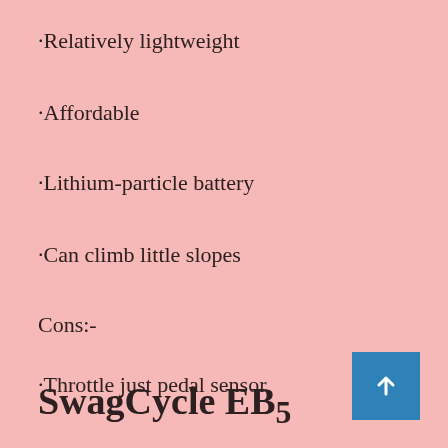·Relatively lightweight
·Affordable
·Lithium-particle battery
·Can climb little slopes
Cons:-
·Throttle just pedal sensor
SwagCycle EB5